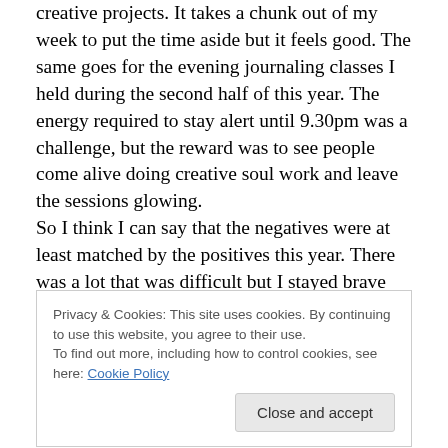creative projects. It takes a chunk out of my week to put the time aside but it feels good. The same goes for the evening journaling classes I held during the second half of this year. The energy required to stay alert until 9.30pm was a challenge, but the reward was to see people come alive doing creative soul work and leave the sessions glowing.
So I think I can say that the negatives were at least matched by the positives this year. There was a lot that was difficult but I stayed brave and survived it. I have so much to be grateful for, my gorgeous sons, family and
Privacy & Cookies: This site uses cookies. By continuing to use this website, you agree to their use.
To find out more, including how to control cookies, see here: Cookie Policy
positive. I feel very blessed for my beautiful, happy life!